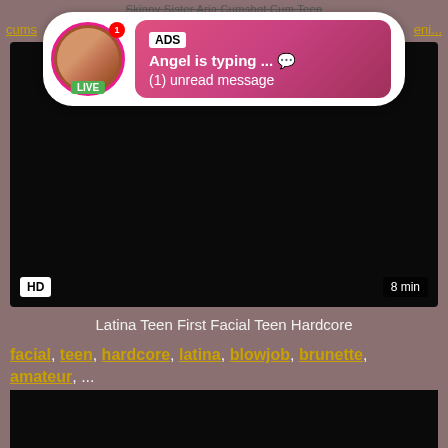Skinny Sister Aria Cumshot Cum Teen
cums... ...eni...
[Figure (screenshot): Ad popup overlay showing a live avatar with LIVE badge, ADS label, 'Angel is typing ... (1) unread message' notification on a pink-to-red gradient background]
[Figure (screenshot): Main video thumbnail with black/dark background. HD badge bottom-left, 8 min duration badge bottom-right.]
Latina Teen First Facial Teen Hardcore
facial, teen, hardcore, latina, blowjob, brunette, amateur, ...
[Figure (screenshot): Bottom video thumbnail, mostly black/dark]